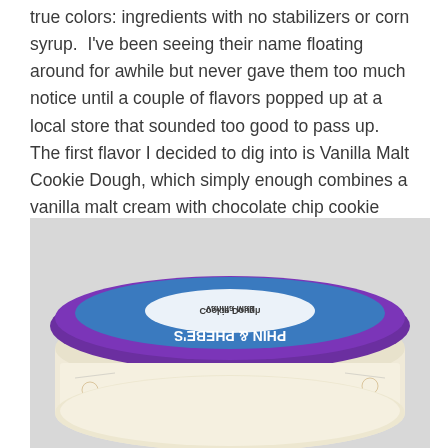…true colors: ingredients with no stabilizers or corn syrup. I've been seeing their name floating around for awhile but never gave them too much notice until a couple of flavors popped up at a local store that sounded too good to pass up. The first flavor I decided to dig into is Vanilla Malt Cookie Dough, which simply enough combines a vanilla malt cream with chocolate chip cookie dough.
[Figure (photo): A pint of Phin & Phebe's Vanilla Malt Cookie Dough ice cream, shown from slightly above. The container has a purple lid and a cream-colored body with the brand name 'PHIN & PHEBE'S' in purple text. The blue label on the lid shows the flavor name reversed/upside down.]